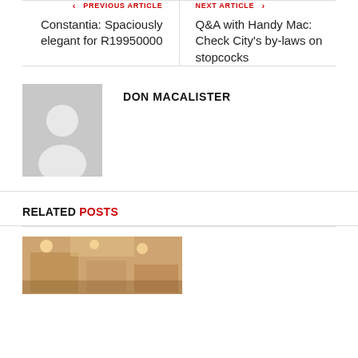PREVIOUS ARTICLE — Constantia: Spaciously elegant for R19950000
NEXT ARTICLE — Q&A with Handy Mac: Check City's by-laws on stopcocks
DON MACALISTER
RELATED POSTS
[Figure (photo): Room interior photo placeholder]